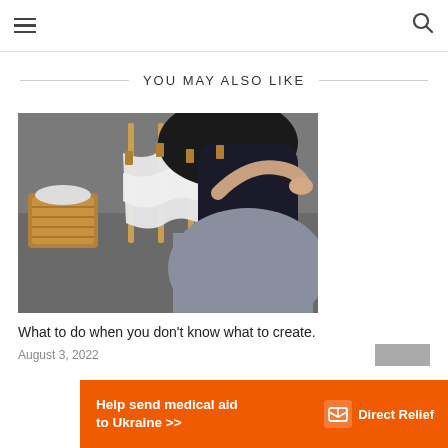Navigation header with hamburger menu and search icon
YOU MAY ALSO LIKE
[Figure (photo): A woman with dark hair, seen from behind, clipping white laundry/fabric to a drying rack with wooden clothespins. A wicker basket with white items is visible on a shelf in the background.]
What to do when you don't know what to create.
August 3, 2022
[Figure (other): Gray rectangular block (social share button area)]
[Figure (infographic): Orange advertisement banner: 'Help send medical aid to Ukraine >>' with Direct Relief logo on the right.]